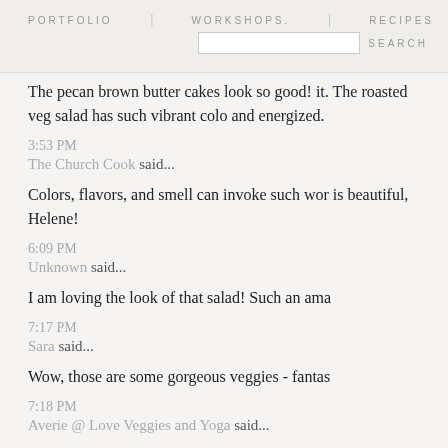PORTFOLIO | WORKSHOPS. | RECIPES | SEARCH
The pecan brown butter cakes look so good! it. The roasted veg salad has such vibrant colo and energized.
3:53 PM
The Church Cook said...
Colors, flavors, and smell can invoke such wor is beautiful, Helene!
6:09 PM
Unknown said...
I am loving the look of that salad! Such an ama
7:17 PM
Sara said...
Wow, those are some gorgeous veggies - fantas
7:18 PM
Averie @ Love Veggies and Yoga said...